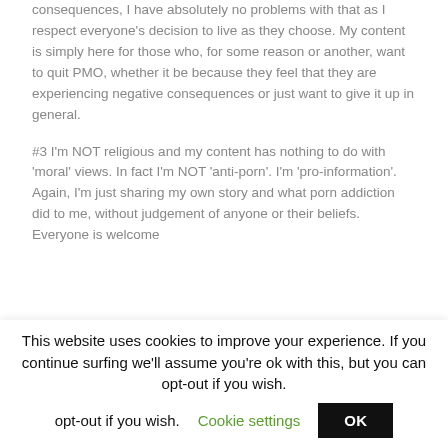consequences, I have absolutely no problems with that as I respect everyone's decision to live as they choose. My content is simply here for those who, for some reason or another, want to quit PMO, whether it be because they feel that they are experiencing negative consequences or just want to give it up in general.
#3 I'm NOT religious and my content has nothing to do with 'moral' views. In fact I'm NOT 'anti-porn'. I'm 'pro-information'. Again, I'm just sharing my own story and what porn addiction did to me, without judgement of anyone or their beliefs. Everyone is welcome
This website uses cookies to improve your experience. If you continue surfing we'll assume you're ok with this, but you can opt-out if you wish.
Cookie settings
OK